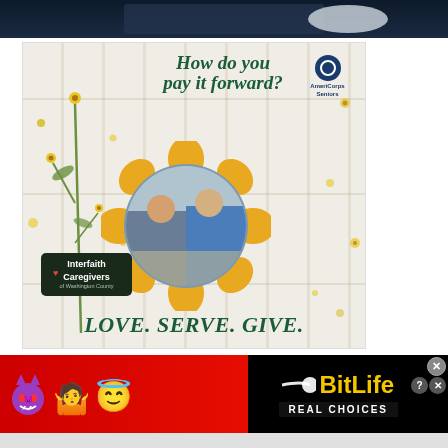[Figure (photo): Partial top image strip showing dark background, appears to be a person in dark clothing]
[Figure (photo): Interfaith Caregivers of Washington County advertisement. White wooden fence background with yellow wildflowers on left side. Script text reads 'How do you pay it forward?' in dark green italic. AmeriCorps Seniors logo top right. Circular photo of two smiling volunteers (woman and man in blue shirts) framed in a yellow sunflower-shaped border. Interfaith Caregivers of Washington County label in dark box lower left. Bold italic text at bottom: 'LOVE. SERVE. GIVE.' in dark green.]
[Figure (photo): BitLife mobile game advertisement banner. Red gradient background on left with devil emoji, person emoji, angel emoji. Black background on right showing sperm icon, BitLife logo in yellow, and 'REAL CHOICES' text in white on black band. Close (X) and question mark (?) buttons in upper right corner.]